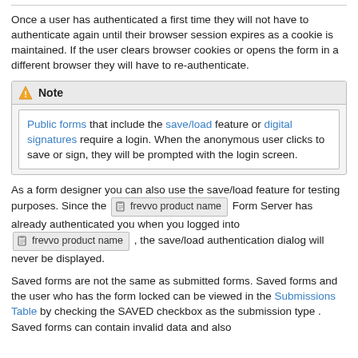Once a user has authenticated a first time they will not have to authenticate again until their browser session expires as a cookie is maintained. If the user clears browser cookies or opens the form in a different browser they will have to re-authenticate.
Note
Public forms that include the save/load feature or digital signatures require a login. When the anonymous user clicks to save or sign, they will be prompted with the login screen.
As a form designer you can also use the save/load feature for testing purposes. Since the [frevvo product name] Form Server has already authenticated you when you logged into [frevvo product name], the save/load authentication dialog will never be displayed.
Saved forms are not the same as submitted forms. Saved forms and the user who has the form locked can be viewed in the Submissions Table by checking the SAVED checkbox as the submission type . Saved forms can contain invalid data and also